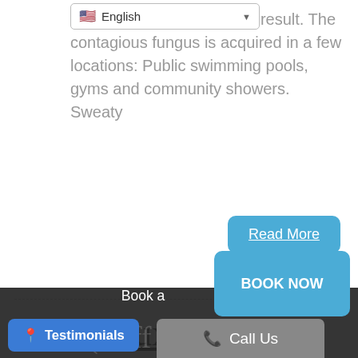[Figure (screenshot): Language selector dropdown showing English with US flag]
curs, and ingrown nail can result. The contagious fungus is acquired in a few locations: Public swimming pools, gyms and community showers. Sweaty
Read More
Hallux Limitus
(Stiff Big Toe)
We now offer Virtual Appointments! Book a
BOOK NOW
Testimonials
Call Us